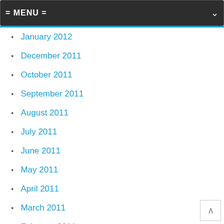= MENU =
January 2012
December 2011
October 2011
September 2011
August 2011
July 2011
June 2011
May 2011
April 2011
March 2011
February 2011
January 2011
December 2010
November 2010
October 2010